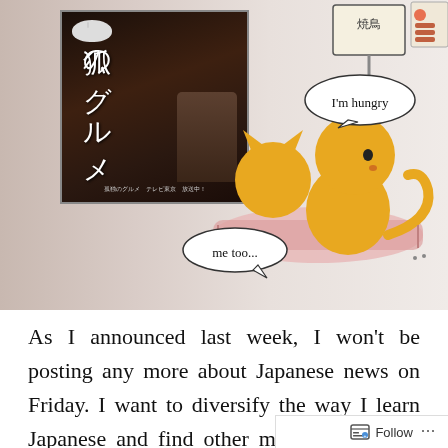[Figure (illustration): Blog post image combining a Japanese TV drama movie poster on the left (showing Japanese text 孤独のグルメ with a figure and a bowl of food) and a cartoon on the right showing two yellow cat-like figures sitting on a pink mat in front of a Japanese yakitori sign. The cartoon cat says 'I'm hungry' in a speech bubble, and the smaller figure says 'me too...' in another speech bubble.]
As I announced last week, I won't be posting any more about Japanese news on Friday. I want to diversify the way I learn Japanese and find other materials (that is, not books) to improve my listening and get to know more different